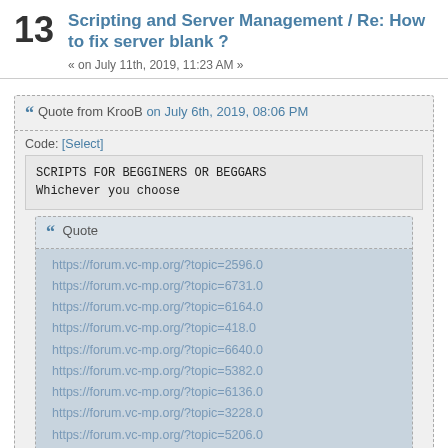13 Scripting and Server Management / Re: How to fix server blank ?
« on July 11th, 2019, 11:23 AM »
Quote from KrooB on July 6th, 2019, 08:06 PM
Code: [Select]
SCRIPTS FOR BEGGINERS OR BEGGARS
Whichever you choose
Quote
https://forum.vc-mp.org/?topic=2596.0
https://forum.vc-mp.org/?topic=6731.0
https://forum.vc-mp.org/?topic=6164.0
https://forum.vc-mp.org/?topic=418.0
https://forum.vc-mp.org/?topic=6640.0
https://forum.vc-mp.org/?topic=5382.0
https://forum.vc-mp.org/?topic=6136.0
https://forum.vc-mp.org/?topic=3228.0
https://forum.vc-mp.org/?topic=5206.0
https://forum.vc-mp.org/?topic=2015.0
https://forum.vc-mp.org/?topic=5503.0